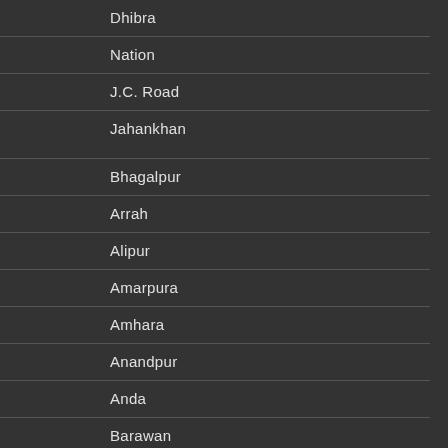Dhibra
Nation
J.C. Road
Jahankhan
Bhagalpur
Arrah
Alipur
Amarpura
Amhara
Anandpur
Anda
Barawan